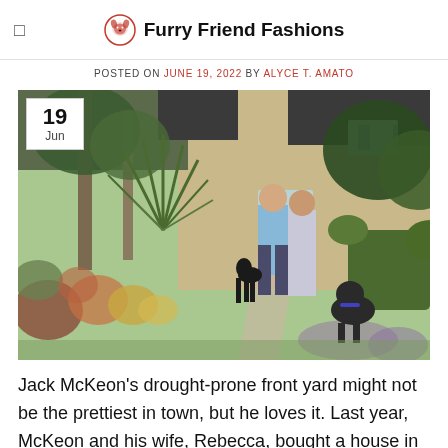California drought: Tips for homeowners to...
Furry Friend Fashions
POSTED ON JUNE 19, 2022 BY ALYCE T. AMATO
[Figure (photo): A couple standing in a drought-tolerant front yard garden with two black dogs, in front of a tan stucco house. The garden has colorful flowers, ornamental grasses, and tropical plants. Date badge shows '19 Jun' in the top-left corner of the photo.]
Jack McKeon’s drought-prone front yard might not be the prettiest in town, but he loves it. Last year, McKeon and his wife, Rebecca, bought a house in the La Riviera neighborhood